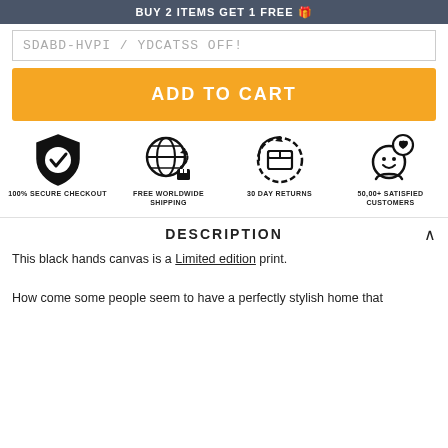BUY 2 ITEMS GET 1 FREE 🎁
SDABD-HVPI / YDCATSS OFF!
ADD TO CART
[Figure (infographic): Four trust icons: 100% Secure Checkout (shield with checkmark), Free Worldwide Shipping (globe with package), 30 Day Returns (box with circular arrow), 50,00+ Satisfied Customers (smiley face with heart)]
DESCRIPTION
This black hands canvas is a Limited edition print.

How come some people seem to have a perfectly stylish home that